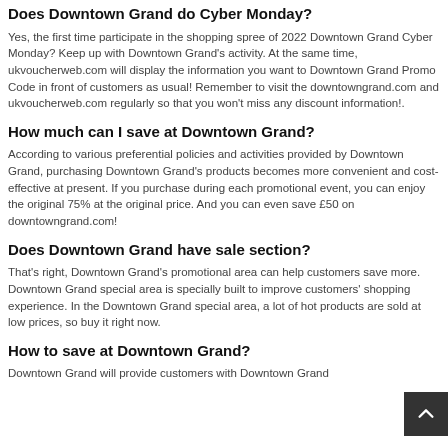Does Downtown Grand do Cyber Monday?
Yes, the first time participate in the shopping spree of 2022 Downtown Grand Cyber Monday? Keep up with Downtown Grand's activity. At the same time, ukvoucherweb.com will display the information you want to Downtown Grand Promo Code in front of customers as usual! Remember to visit the downtowngrand.com and ukvoucherweb.com regularly so that you won't miss any discount information!.
How much can I save at Downtown Grand?
According to various preferential policies and activities provided by Downtown Grand, purchasing Downtown Grand's products becomes more convenient and cost-effective at present. If you purchase during each promotional event, you can enjoy the original 75% at the original price. And you can even save £50 on downtowngrand.com!
Does Downtown Grand have sale section?
That's right, Downtown Grand's promotional area can help customers save more. Downtown Grand special area is specially built to improve customers' shopping experience. In the Downtown Grand special area, a lot of hot products are sold at low prices, so buy it right now.
How to save at Downtown Grand?
Downtown Grand will provide customers with Downtown Grand